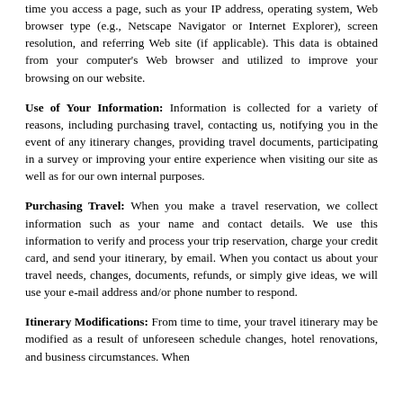time you access a page, such as your IP address, operating system, Web browser type (e.g., Netscape Navigator or Internet Explorer), screen resolution, and referring Web site (if applicable). This data is obtained from your computer's Web browser and utilized to improve your browsing on our website.
Use of Your Information: Information is collected for a variety of reasons, including purchasing travel, contacting us, notifying you in the event of any itinerary changes, providing travel documents, participating in a survey or improving your entire experience when visiting our site as well as for our own internal purposes.
Purchasing Travel: When you make a travel reservation, we collect information such as your name and contact details. We use this information to verify and process your trip reservation, charge your credit card, and send your itinerary, by email. When you contact us about your travel needs, changes, documents, refunds, or simply give ideas, we will use your e-mail address and/or phone number to respond.
Itinerary Modifications: From time to time, your travel itinerary may be modified as a result of unforeseen schedule changes, hotel renovations, and business circumstances. When